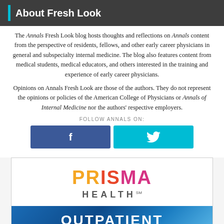About Fresh Look
The Annals Fresh Look blog hosts thoughts and reflections on Annals content from the perspective of residents, fellows, and other early career physicians in general and subspecialty internal medicine. The blog also features content from medical students, medical educators, and others interested in the training and experience of early career physicians.
Opinions on Annals Fresh Look are those of the authors. They do not represent the opinions or policies of the American College of Physicians or Annals of Internal Medicine nor the authors' respective employers.
FOLLOW ANNALS ON:
[Figure (other): Facebook and Twitter social media buttons]
[Figure (logo): Prisma Health advertisement with logo and OUTPATIENT text]